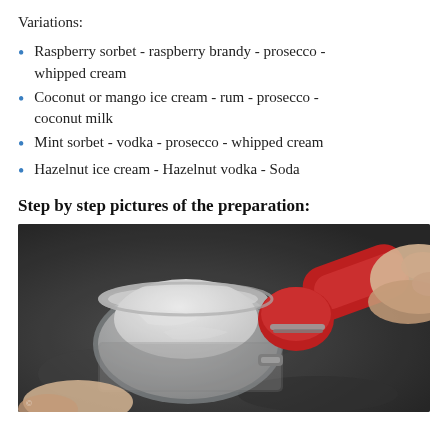Variations:
Raspberry sorbet - raspberry brandy - prosecco - whipped cream
Coconut or mango ice cream - rum - prosecco - coconut milk
Mint sorbet - vodka - prosecco - whipped cream
Hazelnut ice cream - Hazelnut vodka - Soda
Step by step pictures of the preparation:
[Figure (photo): Close-up photo of a hand using a red ice cream scoop to scoop white ice cream or whipped cream into a glass, on a dark countertop background.]